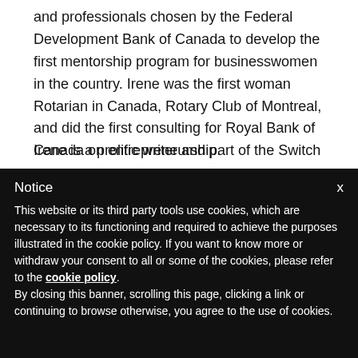and professionals chosen by the Federal Development Bank of Canada to develop the first mentorship program for businesswomen in the country. Irene was the first woman Rotarian in Canada, Rotary Club of Montreal, and did the first consulting for Royal Bank of Canada on entrepreneurship.
Irene is a prolific writer and part of the Switch and
Notice
This website or its third party tools use cookies, which are necessary to its functioning and required to achieve the purposes illustrated in the cookie policy. If you want to know more or withdraw your consent to all or some of the cookies, please refer to the cookie policy. By closing this banner, scrolling this page, clicking a link or continuing to browse otherwise, you agree to the use of cookies.